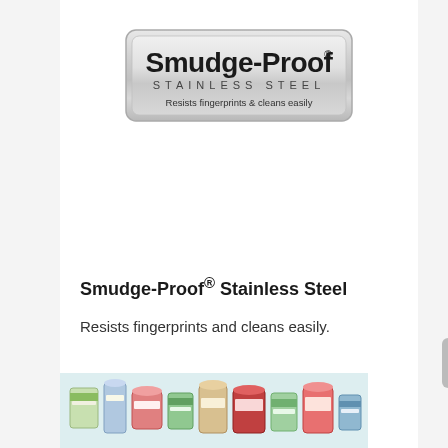[Figure (logo): Smudge-Proof Stainless Steel badge logo — metallic silver rounded rectangle with bold black 'Smudge-Proof' text, spaced 'STAINLESS STEEL' subtitle, and tagline 'Resists fingerprints & cleans easily']
Smudge-Proof® Stainless Steel
Resists fingerprints and cleans easily.
[Figure (photo): Photo of assorted food cans and jars (vegetables, sauces, pickles) arranged in a row on a light background]